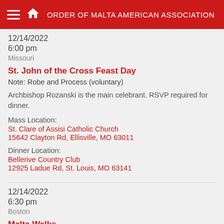ORDER OF MALTA AMERICAN ASSOCIATION
12/14/2022
6:00 pm
Missouri
St. John of the Cross Feast Day
Note: Robe and Process (voluntary)
Archbishop Rozanski is the main celebrant. RSVP required for dinner.
Mass Location:
St. Clare of Assisi Catholic Church
15642 Clayton Rd, Ellisville, MO 63011
Dinner Location:
Bellerive Country Club
12925 Ladue Rd, St. Louis, MO 63141
12/14/2022
6:30 pm
Boston
Malta Walks
Time: